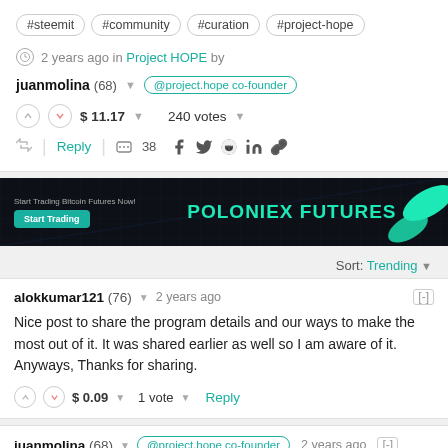#steemit #community #curation #project-hope
2 years ago in Project HOPE by
juanmolina (68) @project.hope co-founder
$ 11.17   240 votes
Reply   38
[Figure (screenshot): Poloniex Futures advertisement banner with dark background, green text and shapes]
Sort: Trending
alokkumar121 (76)   2 years ago
Nice post to share the program details and our ways to make the most out of it. It was shared earlier as well so I am aware of it. Anyways, Thanks for sharing.
$ 0.09   1 vote   Reply
juanmolina (68)   @project.hope co-founder   2 years ago